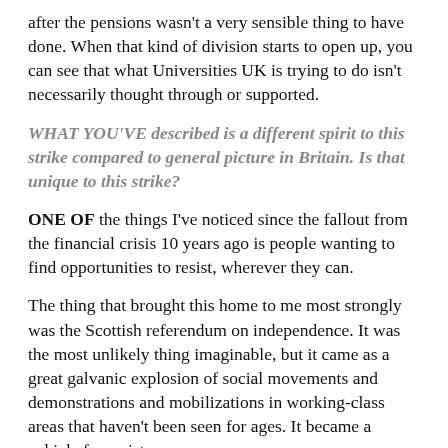after the pensions wasn't a very sensible thing to have done. When that kind of division starts to open up, you can see that what Universities UK is trying to do isn't necessarily thought through or supported.
WHAT YOU'VE described is a different spirit to this strike compared to general picture in Britain. Is that unique to this strike?
ONE OF the things I've noticed since the fallout from the financial crisis 10 years ago is people wanting to find opportunities to resist, wherever they can.
The thing that brought this home to me most strongly was the Scottish referendum on independence. It was the most unlikely thing imaginable, but it came as a great galvanic explosion of social movements and demonstrations and mobilizations in working-class areas that haven't been seen for ages. It became a vehicle for resistance.
In a similar way, I can say, Corbyn's election was...